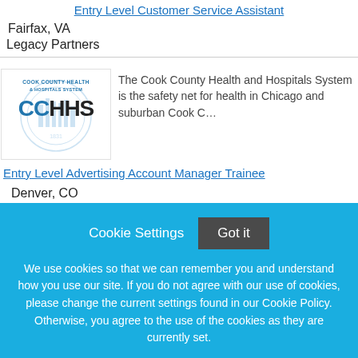Entry Level Customer Service Assistant
Fairfax, VA
Legacy Partners
[Figure (logo): Cook County Health & Hospitals System (CCHHS) logo with background watermark]
The Cook County Health and Hospitals System is the safety net for health in Chicago and suburban Cook ...
Entry Level Advertising Account Manager Trainee
Denver, CO
Reynolds and Reynolds
Cookie Settings
Got it
We use cookies so that we can remember you and understand how you use our site. If you do not agree with our use of cookies, please change the current settings found in our Cookie Policy. Otherwise, you agree to the use of the cookies as they are currently set.